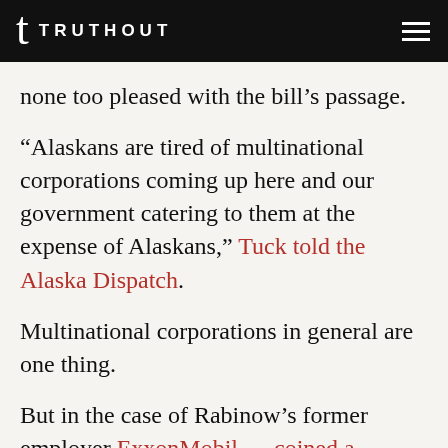TRUTHOUT
none too pleased with the bill’s passage.
“Alaskans are tired of multinational corporations coming up here and our government catering to them at the expense of Alaskans,” Tuck told the Alaska Dispatch.
Multinational corporations in general are one thing.
But in the case of Rabinow’s former employer ExxonMobil — coined a “private empire” by investigative journalist Steve Coll — it also has